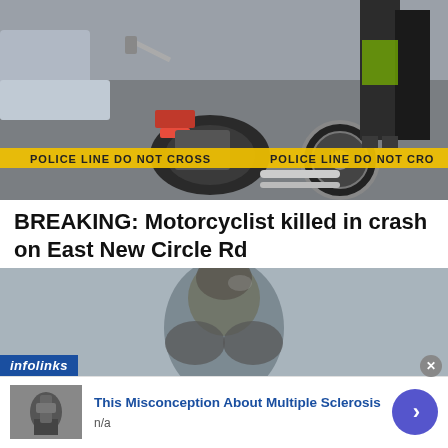[Figure (photo): Crime scene photo showing a motorcycle lying on the ground with police tape reading 'POLICE LINE DO NOT CROSS'. Two people in dark clothing visible in background near a car.]
BREAKING: Motorcyclist killed in crash on East New Circle Rd
[Figure (photo): Blurred photo of a man's head and shoulders against a blue-grey background, with an 'infolinks' branding bar at the bottom left.]
This Misconception About Multiple Sclerosis
n/a